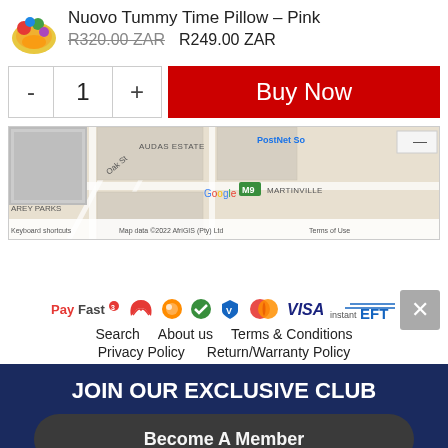Nuovo Tummy Time Pillow – Pink
R320.00 ZAR   R249.00 ZAR
- 1 +
Buy Now
[Figure (map): Google Maps showing Audas Estate, Oak St, PostNet So[mething], Martinville, M9 road marker, AREY PARKS area. Map data ©2022 AfriGIS (Pty) Ltd. Keyboard shortcuts. Terms of Use.]
[Figure (logo): Payment method logos: PayFast, and several payment icons including Absa, Mastercard, VISA, instant EFT]
Search   About us   Terms & Conditions
Privacy Policy   Return/Warranty Policy
JOIN OUR EXCLUSIVE CLUB
Become A Member